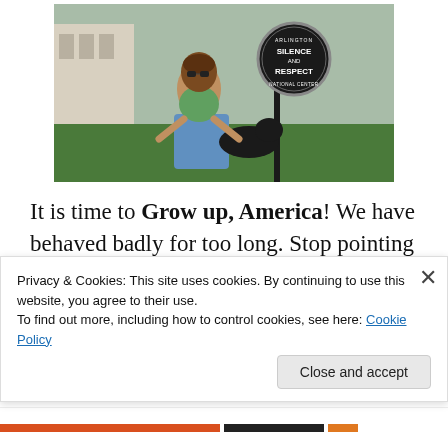[Figure (photo): A woman posing next to a sign post at Arlington National Cemetery. The circular sign reads 'SILENCE AND RESPECT' with 'ARLINGTON NATIONAL CENTER' around the edge. The woman is bending down, appearing to make a gesture.]
It is time to Grow up, America! We have behaved badly for too long. Stop pointing to other people's bad behavior as an excuse for our own bad behavior. Stop looking for JUSTIFICATION! When we throw our tantrums, we shame
Privacy & Cookies: This site uses cookies. By continuing to use this website, you agree to their use.
To find out more, including how to control cookies, see here: Cookie Policy
Close and accept